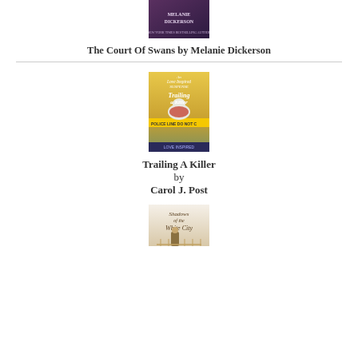[Figure (illustration): Book cover for The Court Of Swans by Melanie Dickerson — partially visible at top of page, shows Melanie Dickerson author name on a dark purple/maroon cover]
The Court Of Swans by Melanie Dickerson
[Figure (illustration): Book cover for Trailing A Killer by Carol J. Post — shows a white dog near police crime scene tape 'POLICE LINE DO NOT CROSS', Love Inspired Suspense series]
Trailing A Killer
by
Carol J. Post
[Figure (illustration): Book cover for Shadows of the White City — partially visible at bottom of page, shows a woman in period dress on a balcony]